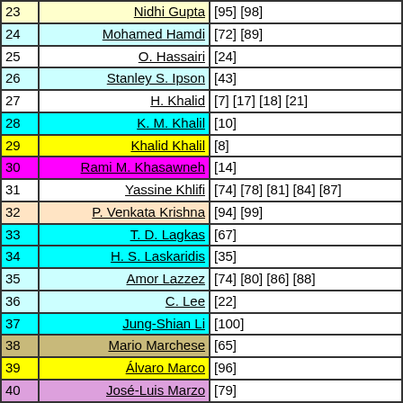| # | Name | References |
| --- | --- | --- |
| 23 | Nidhi Gupta | [95] [98] |
| 24 | Mohamed Hamdi | [72] [89] |
| 25 | O. Hassairi | [24] |
| 26 | Stanley S. Ipson | [43] |
| 27 | H. Khalid | [7] [17] [18] [21] |
| 28 | K. M. Khalil | [10] |
| 29 | Khalid Khalil | [8] |
| 30 | Rami M. Khasawneh | [14] |
| 31 | Yassine Khlifi | [74] [78] [81] [84] [87] |
| 32 | P. Venkata Krishna | [94] [99] |
| 33 | T. D. Lagkas | [67] |
| 34 | H. S. Laskaridis | [35] |
| 35 | Amor Lazzez | [74] [80] [86] [88] |
| 36 | C. Lee | [22] |
| 37 | Jung-Shian Li | [100] |
| 38 | Mario Marchese | [65] |
| 39 | Álvaro Marco | [96] |
| 40 | José-Luis Marzo | [79] |
| 41 | Amel Meddeb-Makhlouf | [82] |